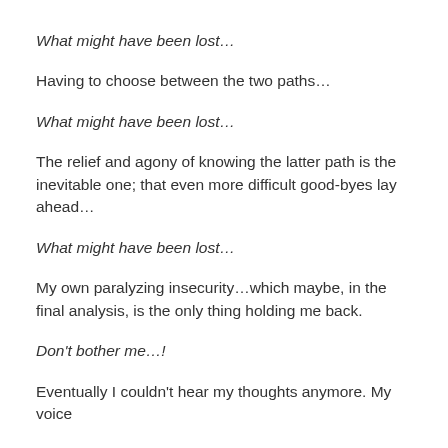What might have been lost…
Having to choose between the two paths…
What might have been lost…
The relief and agony of knowing the latter path is the inevitable one; that even more difficult good-byes lay ahead…
What might have been lost…
My own paralyzing insecurity…which maybe, in the final analysis, is the only thing holding me back.
Don't bother me…!
Eventually I couldn't hear my thoughts anymore. My voice